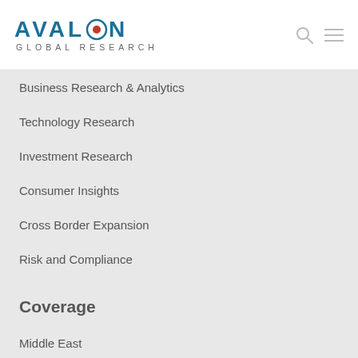AVALON GLOBAL RESEARCH
Business Research & Analytics
Technology Research
Investment Research
Consumer Insights
Cross Border Expansion
Risk and Compliance
Coverage
Middle East
Africa
East Asia